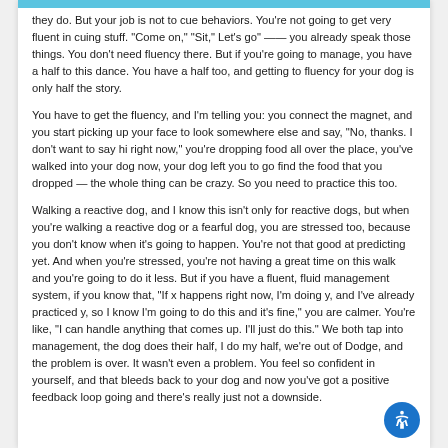they do. But your job is not to cue behaviors. You're not going to get very fluent in cuing stuff. "Come on," "Sit," Let's go" —— you already speak those things. You don't need fluency there. But if you're going to manage, you have a half to this dance. You have a half too, and getting to fluency for your dog is only half the story.
You have to get the fluency, and I'm telling you: you connect the magnet, and you start picking up your face to look somewhere else and say, "No, thanks. I don't want to say hi right now," you're dropping food all over the place, you've walked into your dog now, your dog left you to go find the food that you dropped — the whole thing can be crazy. So you need to practice this too.
Walking a reactive dog, and I know this isn't only for reactive dogs, but when you're walking a reactive dog or a fearful dog, you are stressed too, because you don't know when it's going to happen. You're not that good at predicting yet. And when you're stressed, you're not having a great time on this walk and you're going to do it less. But if you have a fluent, fluid management system, if you know that, "If x happens right now, I'm doing y, and I've already practiced y, so I know I'm going to do this and it's fine," you are calmer. You're like, "I can handle anything that comes up. I'll just do this." We both tap into management, the dog does their half, I do my half, we're out of Dodge, and the problem is over. It wasn't even a problem. You feel so confident in yourself, and that bleeds back to your dog and now you've got a positive feedback loop going and there's really just not a downside.